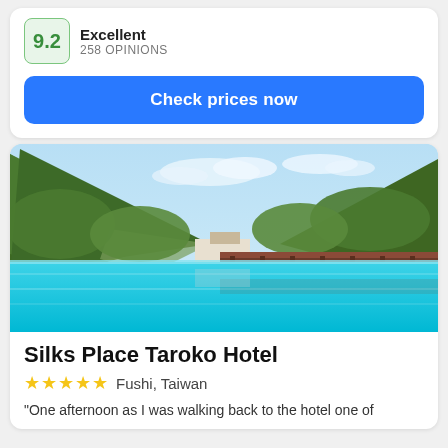9.2
Excellent
258 OPINIONS
Check prices now
[Figure (photo): Outdoor infinity pool with turquoise water surrounded by steep forested mountains and a wooden deck with lounge chairs under a blue sky]
Silks Place Taroko Hotel
★★★★★  Fushi, Taiwan
"One afternoon as I was walking back to the hotel one of